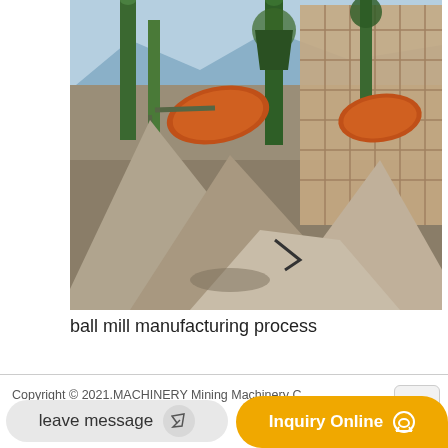[Figure (photo): Industrial mining/cement plant site showing orange rotary drums/ball mills, green metal structures and silos, a brick building in background, with large piles of grey/brown sand or ore material in the foreground. Blue sky visible.]
ball mill manufacturing process
Copyright © 2021.MACHINERY Mining Machinery Co ltd. all rights reserved.
sitemap
leave message
Inquiry Online